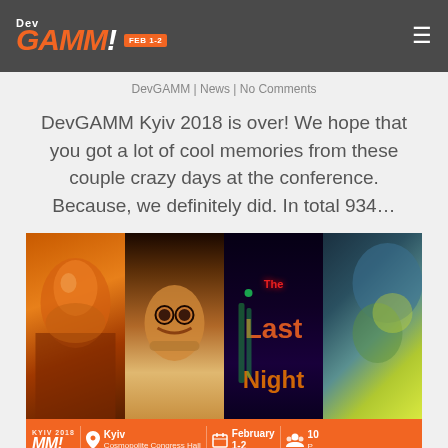DevGAMM | News | No Comments
DevGAMM Kyiv 2018 is over! We hope that you got a lot of cool memories from these couple crazy days at the conference. Because, we definitely did. In total 934…
[Figure (photo): Composite of four game artwork panels showing characters and 'The Last Night' neon text, with an orange info bar showing Kyiv Cosmopolite Congress Hall, February 1-2 details]
DevGAMM starts on Thursday
DevGAMM | News | No Comments